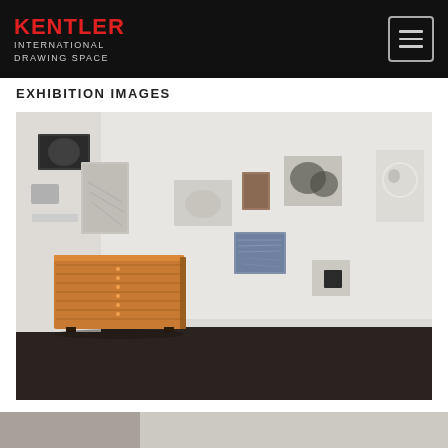KENTLER INTERNATIONAL DRAWING SPACE
EXHIBITION IMAGES
[Figure (photo): Interior gallery photo showing white walls with various small artworks hung: a dark rectangular piece top left, an abstract pencil drawing, a faint misty image center, a small brown square, botanical/leaf prints, a blue abstract piece, a small dark square, and a circular white piece right side. A wooden flat-file cabinet sits on the floor center-left. Dark wood floor.]
[Figure (photo): Partial view of another gallery image at the bottom edge of the page.]